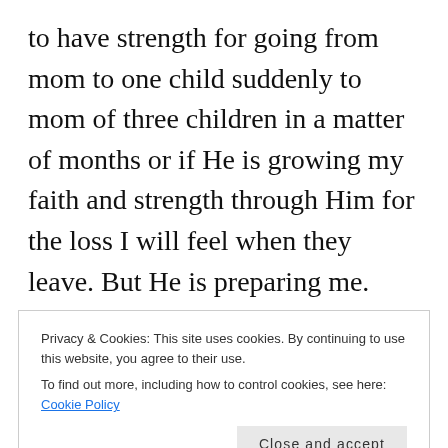to have strength for going from mom to one child suddenly to mom of three children in a matter of months or if He is growing my faith and strength through Him for the loss I will feel when they leave. But He is preparing me. Today, this lesson of His power in our lives to accomplish ANY task He gives us and the destruction that comes if we don't, is a perfectly timed lesson. The comfort that gives me, the firm foundation of hope that gives me, is proof of God's overwhelming love for me
Privacy & Cookies: This site uses cookies. By continuing to use this website, you agree to their use.
To find out more, including how to control cookies, see here: Cookie Policy
Close and accept
hope of His calling, what are the riches of the